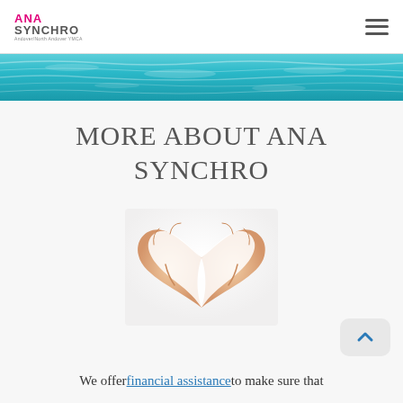ANA SYNCHRO — Andover/North Andover YMCA [navigation hamburger menu]
[Figure (photo): Water surface banner image showing turquoise pool water from above]
MORE ABOUT ANA SYNCHRO
[Figure (photo): Two hands forming a heart shape against a white background]
We offer financial assistance to make sure that